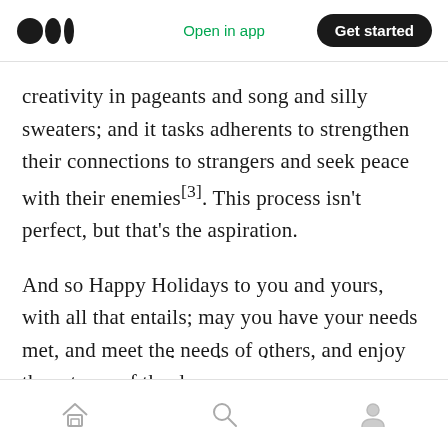Open in app | Get started
creativity in pageants and song and silly sweaters; and it tasks adherents to strengthen their connections to strangers and seek peace with their enemies[3]. This process isn't perfect, but that's the aspiration.
And so Happy Holidays to you and yours, with all that entails; may you have your needs met, and meet the needs of others, and enjoy the returns of the day.
· · ·